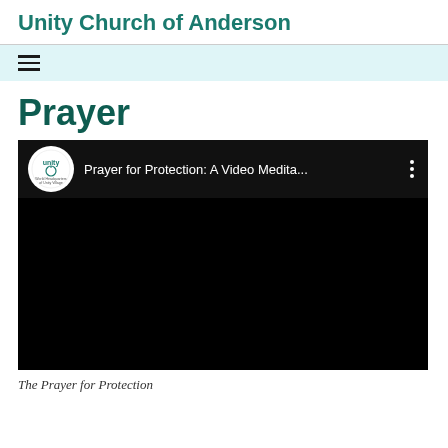Unity Church of Anderson
[Figure (screenshot): Navigation bar with hamburger menu icon on light cyan background]
Prayer
[Figure (screenshot): Embedded video player showing 'Prayer for Protection: A Video Medita...' with Unity logo and three-dot menu on dark background]
The Prayer for Protection